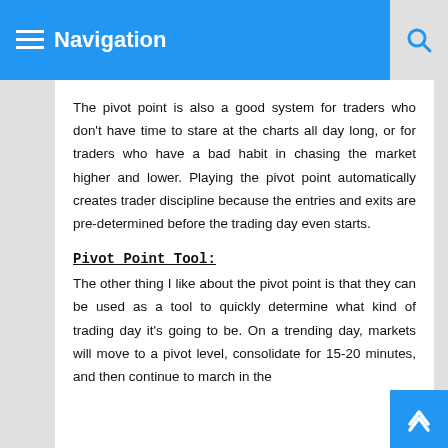≡ Navigation
The pivot point is also a good system for traders who don't have time to stare at the charts all day long, or for traders who have a bad habit in chasing the market higher and lower. Playing the pivot point automatically creates trader discipline because the entries and exits are pre-determined before the trading day even starts.
Pivot Point Tool:
The other thing I like about the pivot point is that they can be used as a tool to quickly determine what kind of trading day it's going to be. On a trending day, markets will move to a pivot level, consolidate for 15-20 minutes, and then continue to march in the